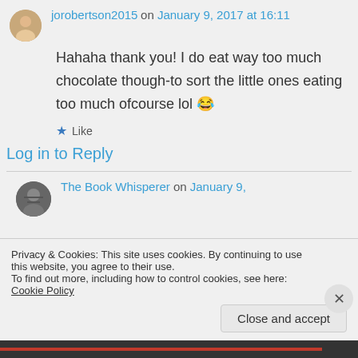jorobertson2015 on January 9, 2017 at 16:11
Hahaha thank you! I do eat way too much chocolate though-to sort the little ones eating too much ofcourse lol 😂
Like
Log in to Reply
The Book Whisperer on January 9,
Privacy & Cookies: This site uses cookies. By continuing to use this website, you agree to their use.
To find out more, including how to control cookies, see here: Cookie Policy
Close and accept